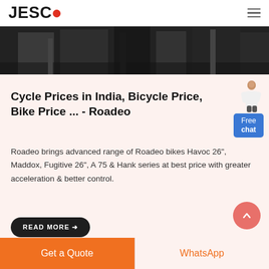JESCO
[Figure (photo): Dark industrial/warehouse interior photo spanning full width]
Cycle Prices in India, Bicycle Price, Bike Price ... - Roadeo
Roadeo brings advanced range of Roadeo bikes Havoc 26", Maddox, Fugitive 26", A 75 & Hank series at best price with greater acceleration & better control.
READ MORE →
Get a Quote
WhatsApp